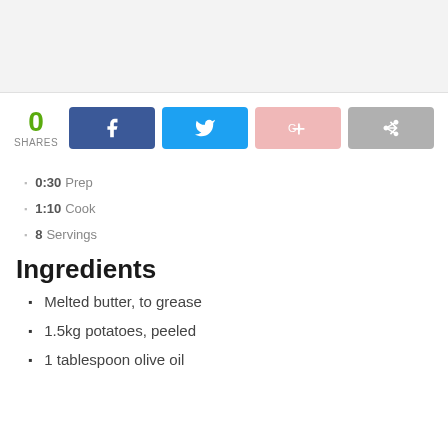[Figure (other): Gray image placeholder box at top of page]
[Figure (infographic): Social share bar showing 0 SHARES count with Facebook, Twitter, Google+, and generic share buttons]
0:30 Prep
1:10 Cook
8 Servings
Ingredients
Melted butter, to grease
1.5kg potatoes, peeled
1 tablespoon olive oil